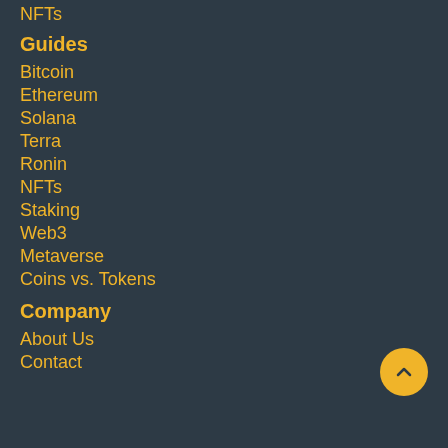NFTs
Guides
Bitcoin
Ethereum
Solana
Terra
Ronin
NFTs
Staking
Web3
Metaverse
Coins vs. Tokens
Company
About Us
Contact